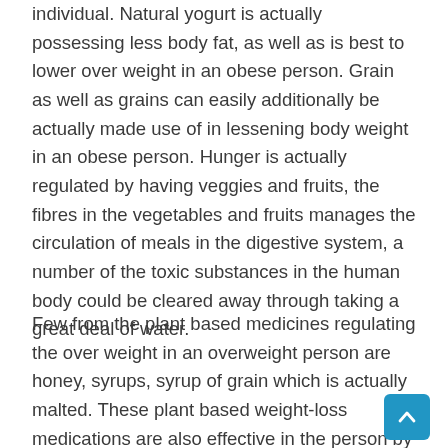individual. Natural yogurt is actually possessing less body fat, as well as is best to lower over weight in an obese person. Grain as well as grains can easily additionally be actually made use of in lessening body weight in an obese person. Hunger is actually regulated by having veggies and fruits, the fibres in the vegetables and fruits manages the circulation of meals in the digestive system, a number of the toxic substances in the human body could be cleared away through taking a great deal of water.
Few from the plant based medicines regulating the over weight in an overweight person are honey, syrups, syrup of grain which is actually malted. These plant based weight-loss medications are also effective in the person by reducing